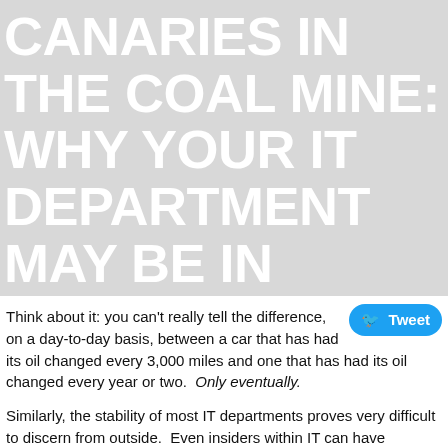CANARIES IN THE COAL MINE: WHY YOUR IT DEPARTMENT MAY BE IN WORSE SHAPE THAN YOU THINK
Think about it: you can't really tell the difference, on a day-to-day basis, between a car that has had its oil changed every 3,000 miles and one that has had its oil changed every year or two. Only eventually.
Similarly, the stability of most IT departments proves very difficult to discern from outside. Even insiders within IT can have myopia. And non-technical senior management (CEO, COO, CFO)? They usually can't really tell either; they often don't even know the right questions to ask, and their gut instincts on IT matters can actually run dizzyingly counter to best practices. In short: to many or most people, it can look like things